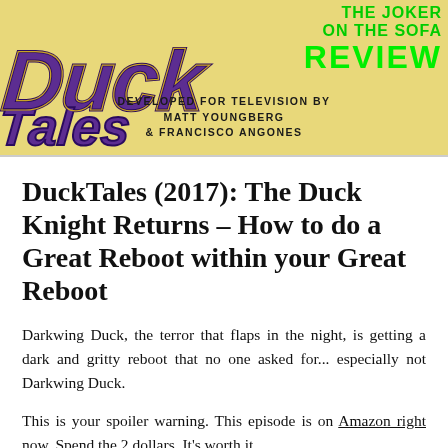[Figure (illustration): DuckTales (2017) TV show banner with golden/yellow background. Left side shows the DuckTales logo in purple/black stylized lettering. Right side shows 'THE JOKER ON THE SOFA REVIEW' in bright green bold text. Below center: 'DEVELOPED FOR TELEVISION BY MATT YOUNGBERG & FRANCISCO ANGONES' in black bold caps.]
DuckTales (2017): The Duck Knight Returns – How to do a Great Reboot within your Great Reboot
Darkwing Duck, the terror that flaps in the night, is getting a dark and gritty reboot that no one asked for... especially not Darkwing Duck.
This is your spoiler warning. This episode is on Amazon right now. Spend the 2 dollars. It's worth it.